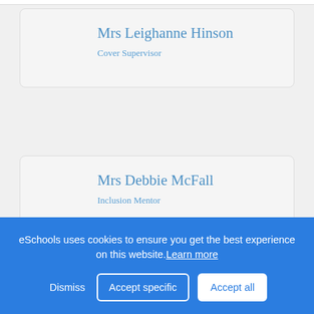Mrs Leighanne Hinson — Cover Supervisor
Mrs Debbie McFall — Inclusion Mentor
Miss Georgia Ritson — Learning Mentor
eSchools uses cookies to ensure you get the best experience on this website. Learn more
Dismiss | Accept specific | Accept all